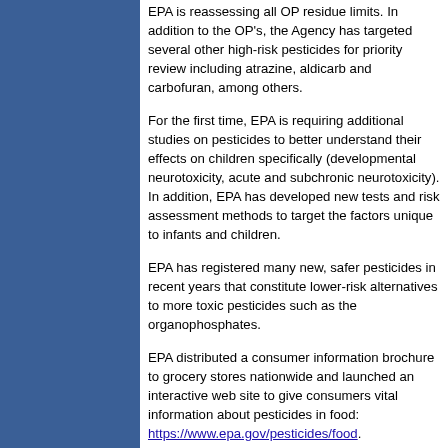EPA is reassessing all OP residue limits. In addition to the OP's, the Agency has targeted several other high-risk pesticides for priority review including atrazine, aldicarb and carbofuran, among others.
For the first time, EPA is requiring additional studies on pesticides to better understand their effects on children specifically (developmental neurotoxicity, acute and subchronic neurotoxicity). In addition, EPA has developed new tests and risk assessment methods to target the factors unique to infants and children.
EPA has registered many new, safer pesticides in recent years that constitute lower-risk alternatives to more toxic pesticides such as the organophosphates.
EPA distributed a consumer information brochure to grocery stores nationwide and launched an interactive web site to give consumers vital information about pesticides in food: https://www.epa.gov/pesticides/food.
EPA is undertaking a screening and testing program to address concerns expressed by scientists in recent years that chemicals might be disrupting the endocrine system that guide the development, growth, reproduction, and behavior. Disruption of the endocrine system may result in reproductive disorders, birth defects, and other effects.